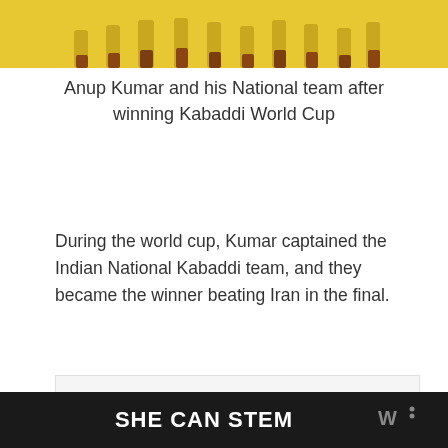[Figure (photo): Photo of Anup Kumar and his National Kabaddi team in yellow uniforms after winning Kabaddi World Cup — only the lower portion of the team (legs/feet) visible at top of image]
Anup Kumar and his National team after winning Kabaddi World Cup
During the world cup, Kumar captained the Indian National Kabaddi team, and they became the winner beating Iran in the final.
[Figure (other): Advertisement placeholder box (light gray empty rectangle)]
SHE CAN STEM